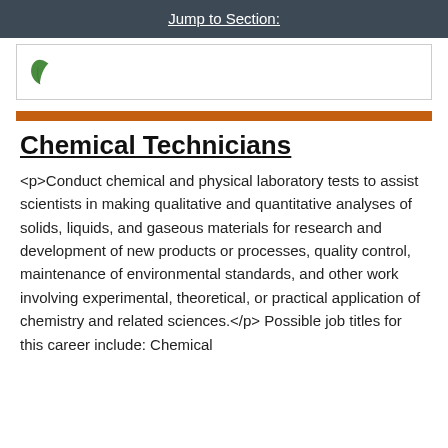Jump to Section:
[Figure (logo): Green leaf logo icon on white background with border]
Chemical Technicians
<p>Conduct chemical and physical laboratory tests to assist scientists in making qualitative and quantitative analyses of solids, liquids, and gaseous materials for research and development of new products or processes, quality control, maintenance of environmental standards, and other work involving experimental, theoretical, or practical application of chemistry and related sciences.</p> Possible job titles for this career include: Chemical